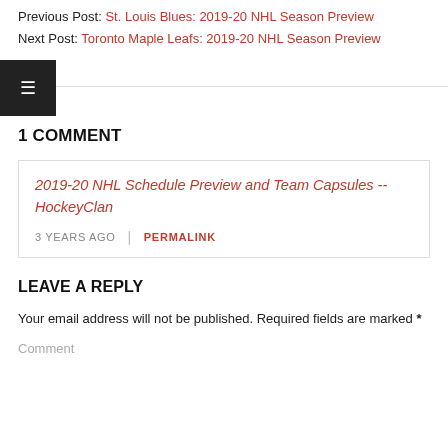Previous Post: St. Louis Blues: 2019-20 NHL Season Preview
Next Post: Toronto Maple Leafs: 2019-20 NHL Season Preview
1 COMMENT
2019-20 NHL Schedule Preview and Team Capsules -- HockeyClan
3 YEARS AGO | PERMALINK
LEAVE A REPLY
Your email address will not be published. Required fields are marked *
Comment